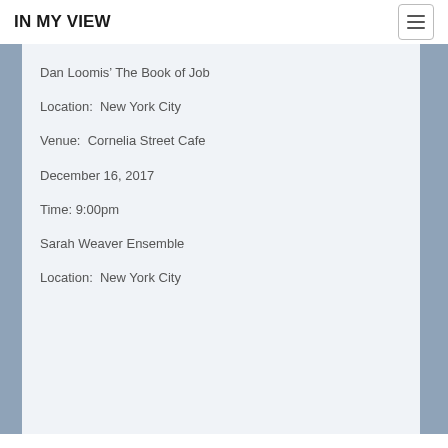IN MY VIEW
Dan Loomis’ The Book of Job
Location:  New York City
Venue:  Cornelia Street Cafe
December 16, 2017
Time: 9:00pm
Sarah Weaver Ensemble
Location:  New York City